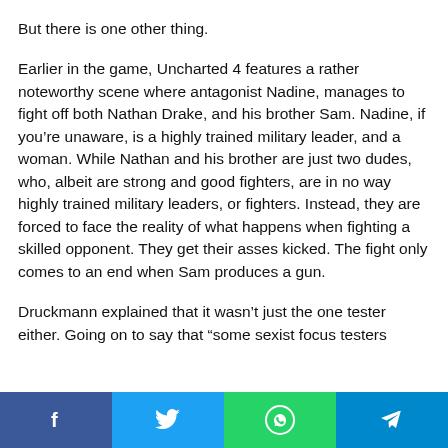But there is one other thing.
Earlier in the game, Uncharted 4 features a rather noteworthy scene where antagonist Nadine, manages to fight off both Nathan Drake, and his brother Sam. Nadine, if you’re unaware, is a highly trained military leader, and a woman. While Nathan and his brother are just two dudes, who, albeit are strong and good fighters, are in no way highly trained military leaders, or fighters. Instead, they are forced to face the reality of what happens when fighting a skilled opponent. They get their asses kicked. The fight only comes to an end when Sam produces a gun.
Druckmann explained that it wasn’t just the one tester either. Going on to say that “some sexist focus testers
[Figure (other): Social sharing bar with four buttons: Facebook (blue), Twitter (light blue), WhatsApp (green), Telegram (dark blue)]